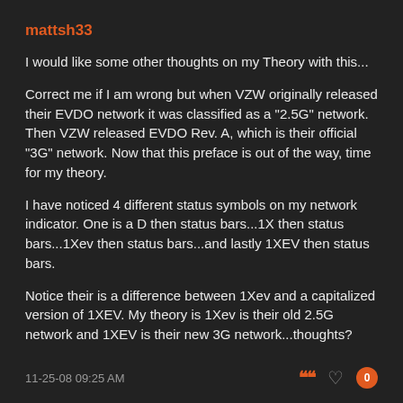mattsh33
I would like some other thoughts on my Theory with this...
Correct me if I am wrong but when VZW originally released their EVDO network it was classified as a "2.5G" network. Then VZW released EVDO Rev. A, which is their official "3G" network. Now that this preface is out of the way, time for my theory.
I have noticed 4 different status symbols on my network indicator. One is a D then status bars...1X then status bars...1Xev then status bars...and lastly 1XEV then status bars.
Notice their is a difference between 1Xev and a capitalized version of 1XEV. My theory is 1Xev is their old 2.5G network and 1XEV is their new 3G network...thoughts?
11-25-08 09:25 AM